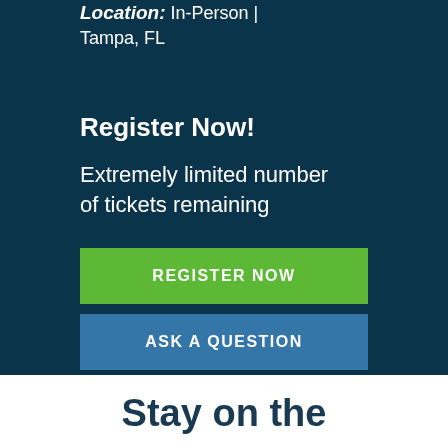Location: In-Person | Tampa, FL
Register Now!
Extremely limited number of tickets remaining
REGISTER NOW
ASK A QUESTION
Stay on the